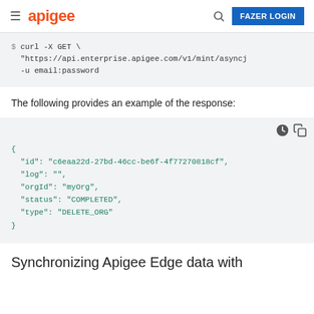apigee | FAZER LOGIN
[Figure (screenshot): Code block showing curl command: $ curl -X GET \ "https://api.enterprise.apigee.com/v1/mint/asyncj -u email:password]
The following provides an example of the response:
[Figure (screenshot): JSON response block: { "id": "c6eaa22d-27bd-46cc-be6f-4f77270818cf", "log": "", "orgId": "myOrg", "status": "COMPLETED", "type": "DELETE_ORG" }]
Synchronizing Apigee Edge data with